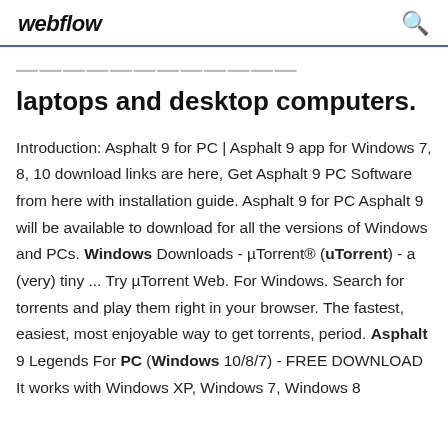webflow
laptops and desktop computers.
Introduction: Asphalt 9 for PC | Asphalt 9 app for Windows 7, 8, 10 download links are here, Get Asphalt 9 PC Software from here with installation guide. Asphalt 9 for PC Asphalt 9 will be available to download for all the versions of Windows and PCs. Windows Downloads - µTorrent® (uTorrent) - a (very) tiny ... Try µTorrent Web. For Windows. Search for torrents and play them right in your browser. The fastest, easiest, most enjoyable way to get torrents, period. Asphalt 9 Legends For PC (Windows 10/8/7) - FREE DOWNLOAD It works with Windows XP, Windows 7, Windows 8